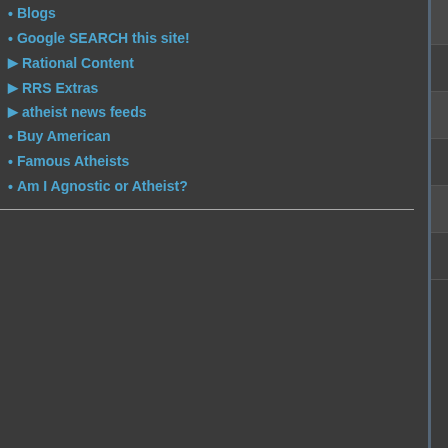Blogs
Google SEARCH this site!
Rational Content
RRS Extras
atheist news feeds
Buy American
Famous Atheists
Am I Agnostic or Atheist?
| icon | topic | replies | meta |
| --- | --- | --- | --- |
| [folder] | accused of being "Militant". | 33 | by Bria... |
| [folder] | Once again, fear mongering focuses on Muslims in America, | 33 | 11 yea... by Bria... |
| [folder] | Anti bullying laws and good intent. | 34 | 10 yea... by Bria... |
| [folder] | Fully Vetted Palin | 34 | 14 yea... by Pork... |
| [folder] | Rational Response Squad: Mission 3, War on Easter! | 34 | 16 yea... by Sap... |
| [folder] | A boy survives... must be a miracle | 35 | 10 yea... by digit... |